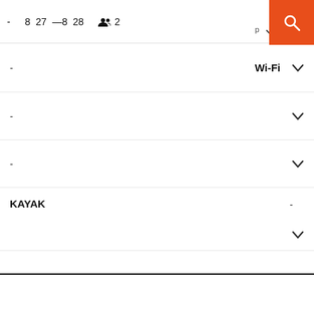- 8 27 — 8 28 [people icon] 2
- Wi-Fi
-
-
KAYAK -